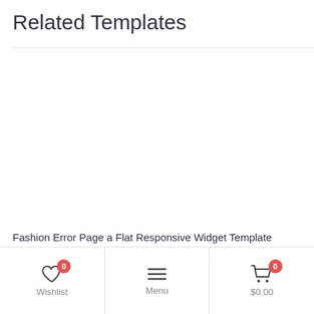Related Templates
Fashion Error Page a Flat Responsive Widget Template
Wishlist 0 | Menu | $0.00 0